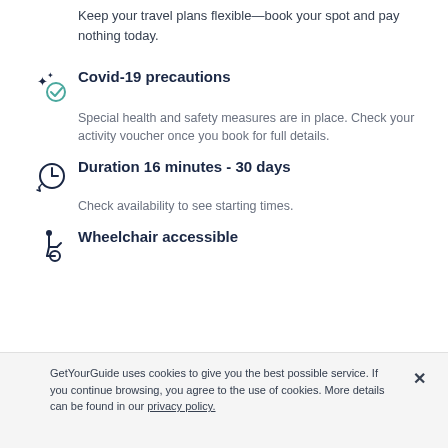Keep your travel plans flexible—book your spot and pay nothing today.
Covid-19 precautions
Special health and safety measures are in place. Check your activity voucher once you book for full details.
Duration 16 minutes - 30 days
Check availability to see starting times.
Wheelchair accessible
GetYourGuide uses cookies to give you the best possible service. If you continue browsing, you agree to the use of cookies. More details can be found in our privacy policy.